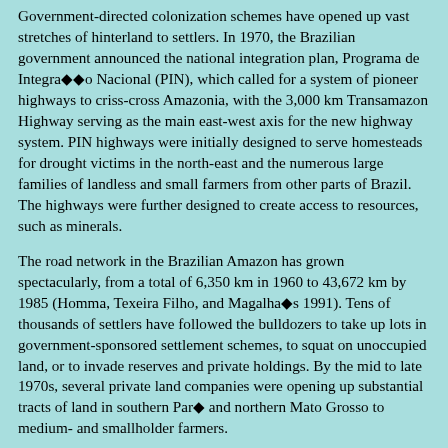Government-directed colonization schemes have opened up vast stretches of hinterland to settlers. In 1970, the Brazilian government announced the national integration plan, Programa de Integração Nacional (PIN), which called for a system of pioneer highways to criss-cross Amazonia, with the 3,000 km Transamazon Highway serving as the main east-west axis for the new highway system. PIN highways were initially designed to serve homesteads for drought victims in the north-east and the numerous large families of landless and small farmers from other parts of Brazil. The highways were further designed to create access to resources, such as minerals.
The road network in the Brazilian Amazon has grown spectacularly, from a total of 6,350 km in 1960 to 43,672 km by 1985 (Homma, Texeira Filho, and Magalhaâs 1991). Tens of thousands of settlers have followed the bulldozers to take up lots in government-sponsored settlement schemes, to squat on unoccupied land, or to invade reserves and private holdings. By the mid to late 1970s, several private land companies were opening up substantial tracts of land in southern Parâ and northern Mato Grosso to medium- and smallholder farmers.
Occupation of Amazonia would occur even without government incentives. A case can be made that certain government policies have accelerated rates of settlement and forest conversion, but they can hardly be blamed for widespread ecological change in